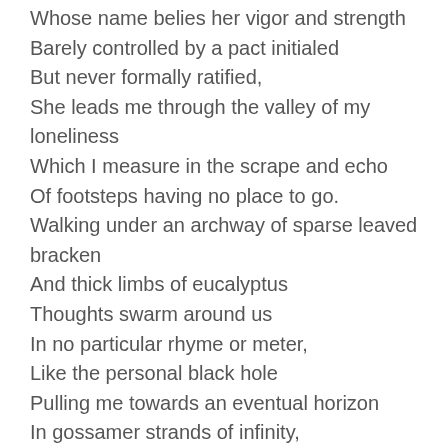Whose name belies her vigor and strength
Barely controlled by a pact initialed
But never formally ratified,
She leads me through the valley of my loneliness
Which I measure in the scrape and echo
Of footsteps having no place to go.
Walking under an archway of sparse leaved bracken
And thick limbs of eucalyptus
Thoughts swarm around us
In no particular rhyme or meter,
Like the personal black hole
Pulling me towards an eventual horizon
In gossamer strands of infinity,
And another: at what point in our lives